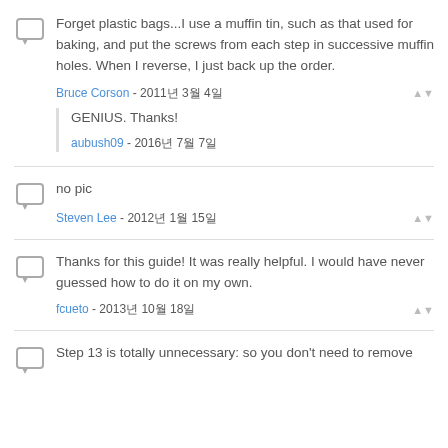Forget plastic bags...I use a muffin tin, such as that used for baking, and put the screws from each step in successive muffin holes. When I reverse, I just back up the order.
Bruce Corson - 2011년 3월 4일
GENIUS. Thanks!
aubush09 - 2016년 7월 7일
no pic
Steven Lee - 2012년 1월 15일
Thanks for this guide! It was really helpful. I would have never guessed how to do it on my own.
fcueto - 2013년 10월 18일
Step 13 is totally unnecessary: so you don't need to remove